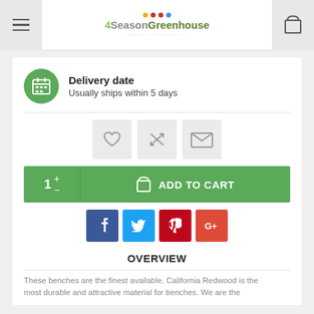4SeasonGreenhouse
Delivery date
Usually ships within 5 days
[Figure (screenshot): Row of three action icon buttons: heart (wishlist), shuffle (compare), envelope (email)]
1 + - ADD TO CART
[Figure (infographic): Social media share buttons: Facebook, Twitter, Pinterest, Google+]
OVERVIEW
These benches are the finest available. California Redwood is the most durable and attractive material for benches. We are the